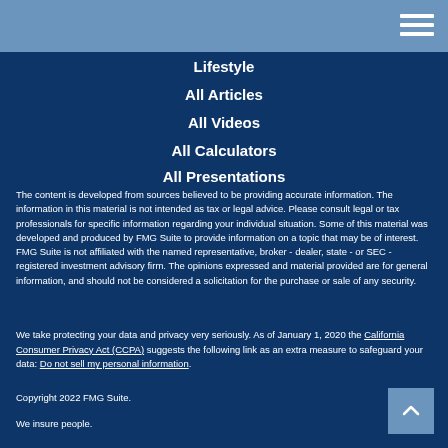Lifestyle
All Articles
All Videos
All Calculators
All Presentations
The content is developed from sources believed to be providing accurate information. The information in this material is not intended as tax or legal advice. Please consult legal or tax professionals for specific information regarding your individual situation. Some of this material was developed and produced by FMG Suite to provide information on a topic that may be of interest. FMG Suite is not affiliated with the named representative, broker - dealer, state - or SEC - registered investment advisory firm. The opinions expressed and material provided are for general information, and should not be considered a solicitation for the purchase or sale of any security.
We take protecting your data and privacy very seriously. As of January 1, 2020 the California Consumer Privacy Act (CCPA) suggests the following link as an extra measure to safeguard your data: Do not sell my personal information.
Copyright 2022 FMG Suite.
We insure people.